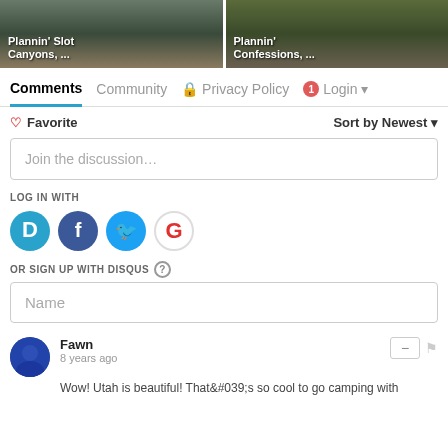[Figure (photo): Two thumbnail images side by side: left shows 'Plannin' Slot Canyons, ...' and right shows 'Plannin' Confessions, ...' with outdoor scenery]
Comments  Community  🔒 Privacy Policy  1  Login
♡ Favorite    Sort by Newest
Join the discussion…
LOG IN WITH
[Figure (logo): Social login icons: Disqus (D), Facebook (f), Twitter (bird), Google (G)]
OR SIGN UP WITH DISQUS ?
Name
Fawn
8 years ago
Wow! Utah is beautiful! That&#039;s so cool to go camping with